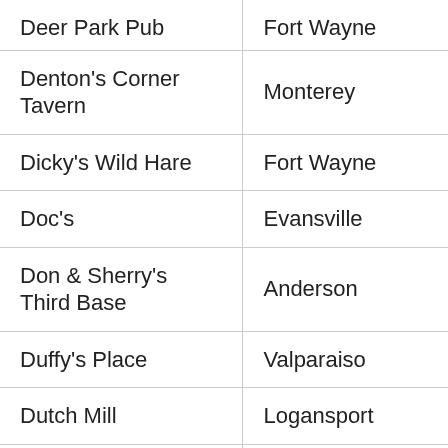| Name | City |
| --- | --- |
| Deer Park Pub | Fort Wayne |
| Denton's Corner Tavern | Monterey |
| Dicky's Wild Hare | Fort Wayne |
| Doc's | Evansville |
| Don & Sherry's Third Base | Anderson |
| Duffy's Place | Valparaiso |
| Dutch Mill | Logansport |
| Eagles Aerie 2653 | Decatur |
| Early Birds & |  |